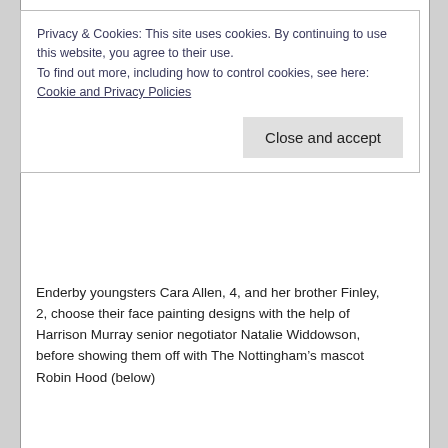Privacy & Cookies: This site uses cookies. By continuing to use this website, you agree to their use.
To find out more, including how to control cookies, see here: Cookie and Privacy Policies
Close and accept
Enderby youngsters Cara Allen, 4, and her brother Finley, 2, choose their face painting designs with the help of Harrison Murray senior negotiator Natalie Widdowson, before showing them off with The Nottingham’s mascot Robin Hood (below)